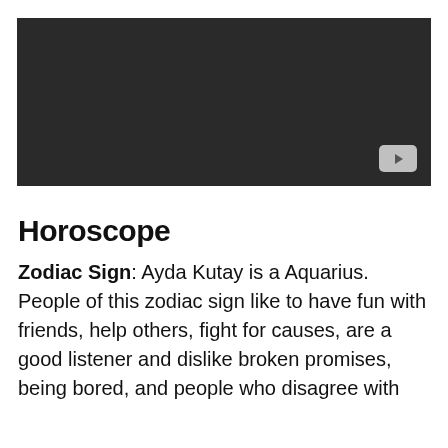[Figure (other): Dark video player thumbnail with a YouTube play button icon in the bottom-right corner]
Horoscope
Zodiac Sign: Ayda Kutay is a Aquarius. People of this zodiac sign like to have fun with friends, help others, fight for causes, are a good listener and dislike broken promises, being bored, and people who disagree with